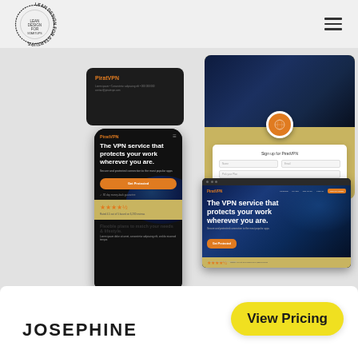[Figure (logo): Lean Design for Startups circular logo with text around the perimeter]
[Figure (screenshot): Collection of PiratVPN product screenshots showing dark card, sign-up modal, mobile app mockup, and desktop website mockup]
View Pricing
JOSEPHINE